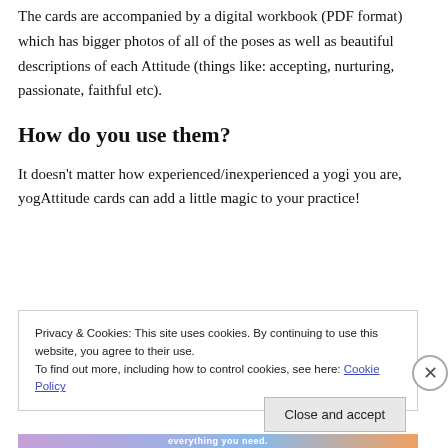The cards are accompanied by a digital workbook (PDF format) which has bigger photos of all of the poses as well as beautiful descriptions of each Attitude (things like: accepting, nurturing, passionate, faithful etc).
How do you use them?
It doesn't matter how experienced/inexperienced a yogi you are, yogAttitude cards can add a little magic to your practice!
Privacy & Cookies: This site uses cookies. By continuing to use this website, you agree to their use.
To find out more, including how to control cookies, see here: Cookie Policy